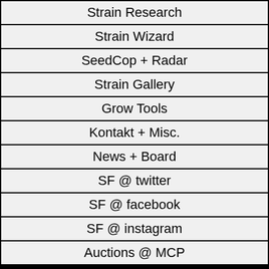Strain Research
Strain Wizard
SeedCop + Radar
Strain Gallery
Grow Tools
Kontakt + Misc.
News + Board
SF @ twitter
SF @ facebook
SF @ instagram
Auctions @ MCP
Member Area
Log In!
Seed Sheet
Language Select